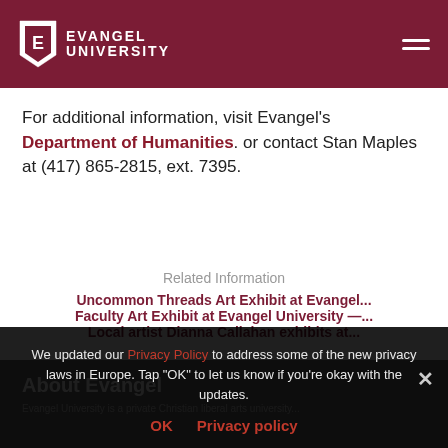Evangel University
For additional information, visit Evangel's Department of Humanities. or contact Stan Maples at (417) 865-2815, ext. 7395.
Related Information
Uncommon Threads Art Exhibit at Evangel...
Faculty Art Exhibit at Evangel University —...
Local artist Dianna Callahan exhibits at...
About Evangel
We updated our Privacy Policy to address some of the new privacy laws in Europe. Tap "OK" to let us know if you're okay with the updates.
OK   Privacy policy